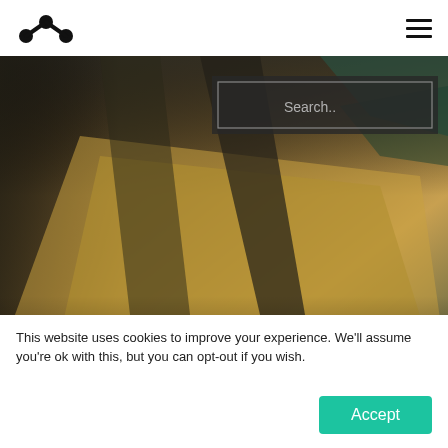Logo and navigation header with hamburger menu
[Figure (screenshot): Hero image of a racing car hood/roof in warm golden light, with a search box overlay in the upper right reading 'Search..' and text 'T.McGUARRIE' visible on the car body, and 'Case Study' text overlay at the bottom left]
This website uses cookies to improve your experience. We'll assume you're ok with this, but you can opt-out if you wish.
Accept